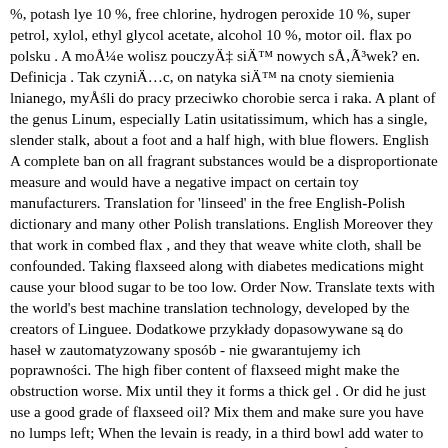%, potash lye 10 %, free chlorine, hydrogen peroxide 10 %, super petrol, xylol, ethyl glycol acetate, alcohol 10 %, motor oil. flax po polsku . A moÅ¼e wolisz pouczyÄ siÄ nowych sÅÃ³wek? en. Definicja . Tak czyniÄc, on natyka siÄ na cnoty siemienia lnianego, myÅśli do pracy przeciwko chorobie serca i raka. A plant of the genus Linum, especially Latin usitatissimum, which has a single, slender stalk, about a foot and a half high, with blue flowers. English A complete ban on all fragrant substances would be a disproportionate measure and would have a negative impact on certain toy manufacturers. Translation for 'linseed' in the free English-Polish dictionary and many other Polish translations. English Moreover they that work in combed flax , and they that weave white cloth, shall be confounded. Taking flaxseed along with diabetes medications might cause your blood sugar to be too low. Order Now. Translate texts with the world's best machine translation technology, developed by the creators of Linguee. Dodatkowe przykłady dopasowywane są do haseł w zautomatyzowany sposób - nie gwarantujemy ich poprawności. The high fiber content of flaxseed might make the obstruction worse. Mix until they it forms a thick gel . Or did he just use a good grade of flaxseed oil? Mix them and make sure you have no lumps left; When the levain is ready, in a third bowl add water to psyllium husks and ground linseed. Dla lepszego pochÅłaniania, jacyÅś ludzie mielÄ caÅe siemiÄ lniane przed uÅ¼ywaniem tego. Co znaczy i jak powiedzieć "linseed oil" po polsku?